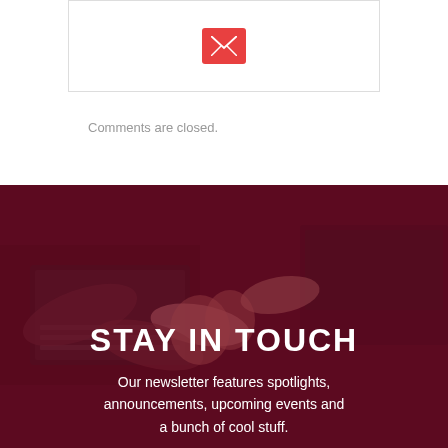[Figure (illustration): A card/box with a red square envelope icon centered inside a bordered rectangle]
Comments are closed.
[Figure (photo): Background photo of multiple people's hands joining together over laptops and notebooks, with a dark red overlay]
STAY IN TOUCH
Our newsletter features spotlights, announcements, upcoming events and a bunch of cool stuff.